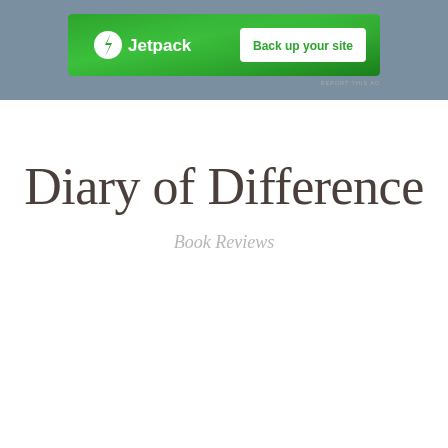[Figure (screenshot): Jetpack advertisement banner with green background. Left side shows Jetpack logo (circular white icon with lightning bolt) and 'Jetpack' text in white. Right side has white button with green text 'Back up your site'.]
REPORT THIS AD
Diary of Difference
Book Reviews